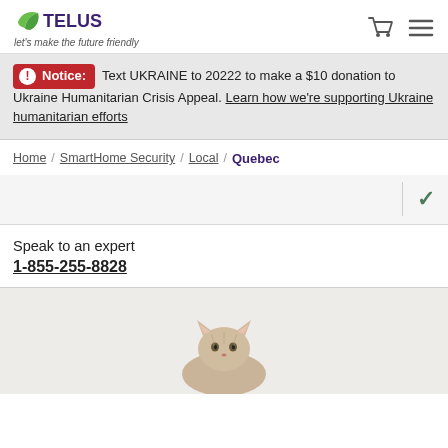TELUS — let's make the future friendly
Notice: Text UKRAINE to 20222 to make a $10 donation to Ukraine Humanitarian Crisis Appeal. Learn how we're supporting Ukraine humanitarian efforts
Home / SmartHome Security / Local / Quebec
Speak to an expert
1-855-255-8828
[Figure (photo): Partial view of a cat at the bottom of the page]